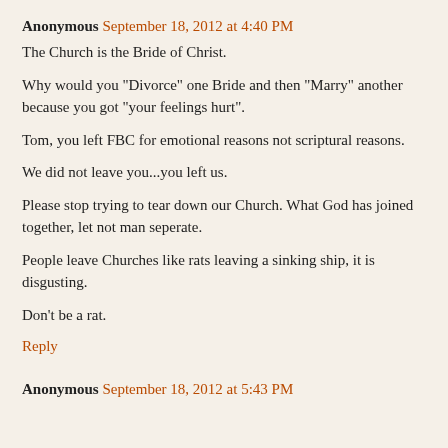Anonymous September 18, 2012 at 4:40 PM
The Church is the Bride of Christ.
Why would you "Divorce" one Bride and then "Marry" another because you got "your feelings hurt".
Tom, you left FBC for emotional reasons not scriptural reasons.
We did not leave you...you left us.
Please stop trying to tear down our Church. What God has joined together, let not man seperate.
People leave Churches like rats leaving a sinking ship, it is disgusting.
Don't be a rat.
Reply
Anonymous September 18, 2012 at 5:43 PM